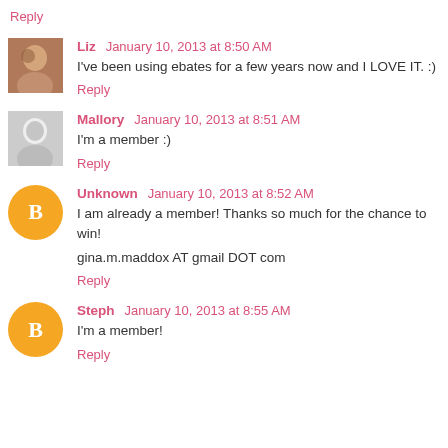Reply
Liz  January 10, 2013 at 8:50 AM
I've been using ebates for a few years now and I LOVE IT. :)
Reply
Mallory  January 10, 2013 at 8:51 AM
I'm a member :)
Reply
Unknown  January 10, 2013 at 8:52 AM
I am already a member! Thanks so much for the chance to win!
gina.m.maddox AT gmail DOT com
Reply
Steph  January 10, 2013 at 8:55 AM
I'm a member!
Reply